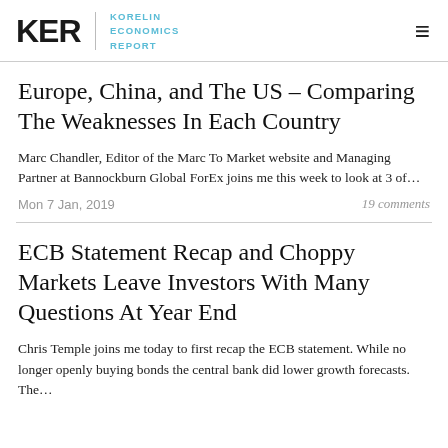KER | KORELIN ECONOMICS REPORT
Europe, China, and The US – Comparing The Weaknesses In Each Country
Marc Chandler, Editor of the Marc To Market website and Managing Partner at Bannockburn Global ForEx joins me this week to look at 3 of…
Mon 7 Jan, 2019    19 comments
ECB Statement Recap and Choppy Markets Leave Investors With Many Questions At Year End
Chris Temple joins me today to first recap the ECB statement. While no longer openly buying bonds the central bank did lower growth forecasts. The…